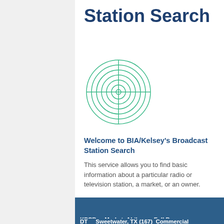Station Search
[Figure (illustration): Circular radar/target crosshair icon with concentric circles and crosshair lines in teal/green color]
Welcome to BIA/Kelsey's Broadcast Station Search
This service allows you to find basic information about a particular radio or television station, a market, or an owner.
BIA/Kelsey Station Information:
KPCB-DT    Market: Abilene-Sweetwater, TX (167)    Full Power Commercial